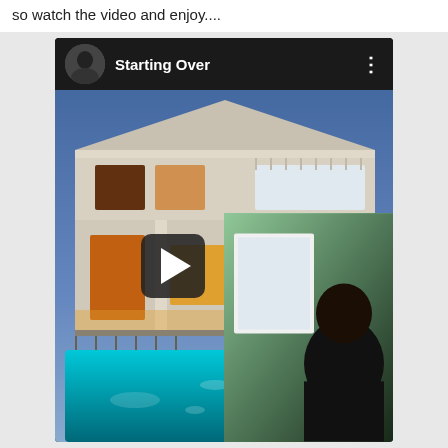so watch the video and enjoy....
[Figure (screenshot): Screenshot of a YouTube video embed titled 'Starting Over' showing a luxury house with a pool at night and a person in the lower right corner, with a play button overlay]